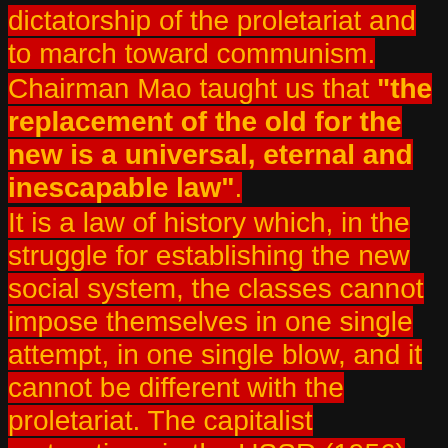dictatorship of the proletariat and to march toward communism. Chairman Mao taught us that "the replacement of the old for the new is a universal, eternal and inescapable law". It is a law of history which, in the struggle for establishing the new social system, the classes cannot impose themselves in one single attempt, in one single blow, and it cannot be different with the proletariat. The capitalist restorations in the USSR (1956) ad in China (1976) are part of the contradiction between socialism and capitalism – the historical struggle for the replacement of the old by the new